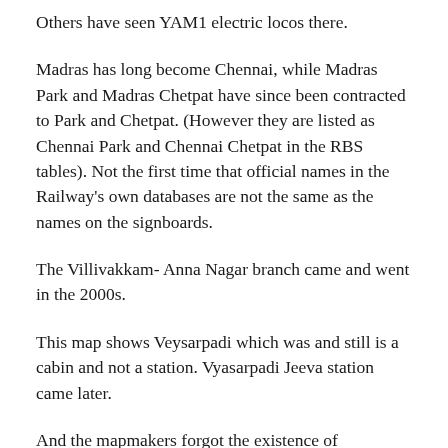Others have seen YAM1 electric locos there.
Madras has long become Chennai, while Madras Park and Madras Chetpat have since been contracted to Park and Chetpat. (However they are listed as Chennai Park and Chennai Chetpat in the RBS tables). Not the first time that official names in the Railway's own databases are not the same as the names on the signboards.
The Villivakkam- Anna Nagar branch came and went in the 2000s.
This map shows Veysarpadi which was and still is a cabin and not a station. Vyasarpadi Jeeva station came later.
And the mapmakers forgot the existence of